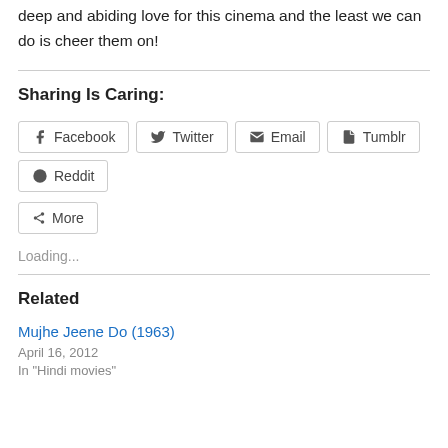deep and abiding love for this cinema and the least we can do is cheer them on!
Sharing Is Caring:
[Figure (other): Social sharing buttons: Facebook, Twitter, Email, Tumblr, Reddit, More]
Loading...
Related
Mujhe Jeene Do (1963)
April 16, 2012
In "Hindi movies"